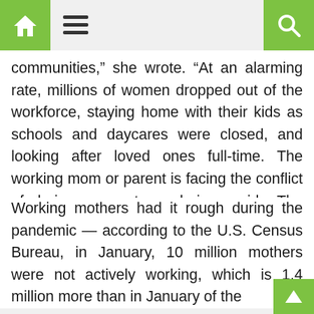[Home icon] [Hamburger menu] [Search icon]
communities,” she wrote. “At an alarming rate, millions of women dropped out of the workforce, staying home with their kids as schools and daycares were closed, and looking after loved ones full-time. The working mom or parent is facing the conflict of being present or being paid. The sacrifice of either comes at a great cost.”
Working mothers had it rough during the pandemic — according to the U.S. Census Bureau, in January, 10 million mothers were not actively working, which is 1.4 million more than in January of the